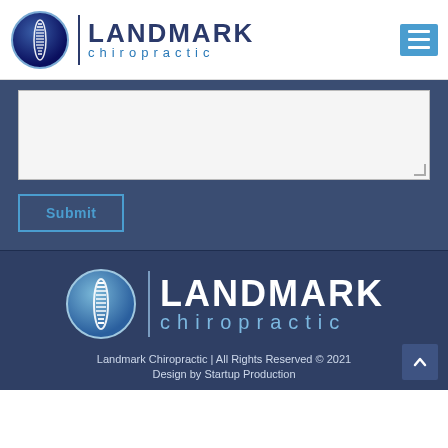[Figure (logo): Landmark Chiropractic logo with spine graphic in blue circle and text]
[Figure (screenshot): Text area input box (empty) for form submission]
Submit
[Figure (logo): Landmark Chiropractic footer logo with spine graphic in blue circle and white text on dark background]
Landmark Chiropractic | All Rights Reserved © 2021
Design by Startup Production